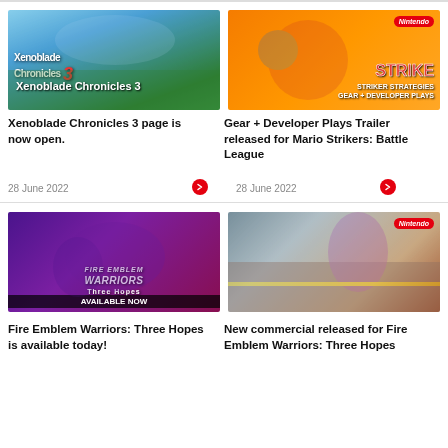[Figure (screenshot): Xenoblade Chronicles 3 promotional image showing characters on a green field with blue sky]
Xenoblade Chronicles 3 page is now open.
28 June 2022
[Figure (screenshot): Mario Strikers: Battle League promotional image with orange background - Striker Strategies Gear + Developer Plays]
Gear + Developer Plays Trailer released for Mario Strikers: Battle League
28 June 2022
[Figure (screenshot): Fire Emblem Warriors: Three Hopes promotional image - AVAILABLE NOW]
Fire Emblem Warriors: Three Hopes is available today!
[Figure (screenshot): New commercial image for Fire Emblem Warriors: Three Hopes showing purple-haired character running]
New commercial released for Fire Emblem Warriors: Three Hopes